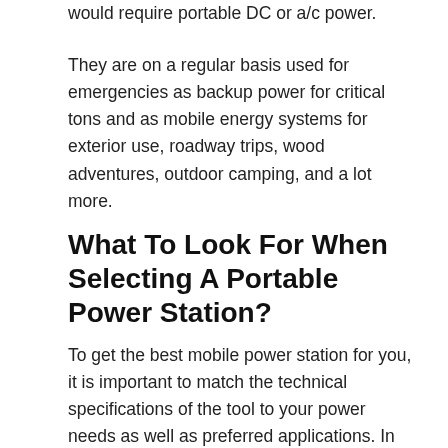would require portable DC or a/c power.
They are on a regular basis used for emergencies as backup power for critical tons and as mobile energy systems for exterior use, roadway trips, wood adventures, outdoor camping, and a lot more.
What To Look For When Selecting A Portable Power Station?
To get the best mobile power station for you, it is important to match the technical specifications of the tool to your power needs as well as preferred applications. In this section, we encourage you on how to select the suitable portable power station for you.